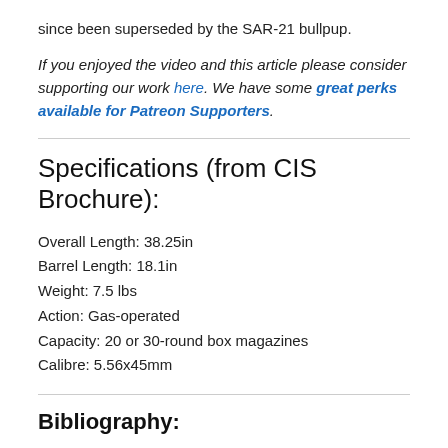since been superseded by the SAR-21 bullpup.
If you enjoyed the video and this article please consider supporting our work here. We have some great perks available for Patreon Supporters.
Specifications (from CIS Brochure):
Overall Length: 38.25in
Barrel Length: 18.1in
Weight: 7.5 lbs
Action: Gas-operated
Capacity: 20 or 30-round box magazines
Calibre: 5.56x45mm
Bibliography: